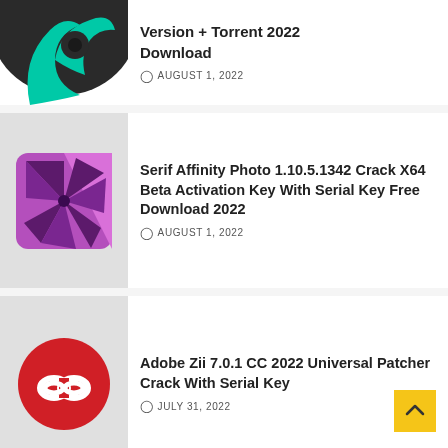[Figure (logo): Partially visible green and dark spiral/flame logo (app icon) at top]
Version + Torrent 2022 Download
AUGUST 1, 2022
[Figure (logo): Serif Affinity Photo app icon: purple/pink square with aperture blade geometric design]
Serif Affinity Photo 1.10.5.1342 Crack X64 Beta Activation Key With Serial Key Free Download 2022
AUGUST 1, 2022
[Figure (logo): Adobe Creative Cloud logo: red circle with white creative cloud/infinity link icon]
Adobe Zii 7.0.1 CC 2022 Universal Patcher Crack With Serial Key
JULY 31, 2022